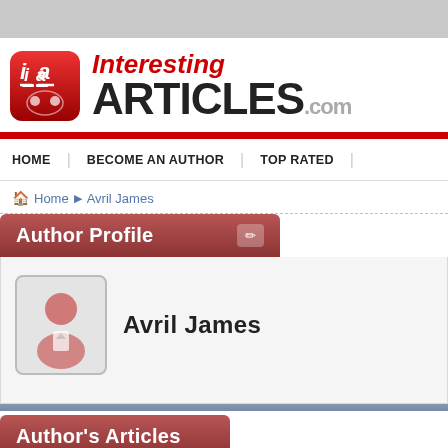InterestingArticles.com
HOME   BECOME AN AUTHOR   TOP RATED
Home › Avril James
Author Profile
Avril James
Author's Articles